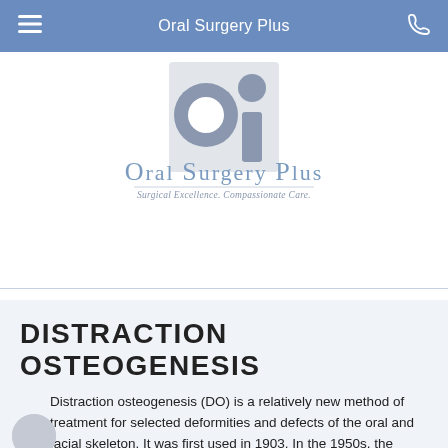Oral Surgery Plus
[Figure (logo): Oral Surgery Plus logo with stylized OSP letters and tagline 'Surgical Excellence. Compassionate Care.']
DISTRACTION OSTEOGENESIS
Distraction osteogenesis (DO) is a relatively new method of treatment for selected deformities and defects of the oral and facial skeleton. It was first used in 1903. In the 1950s, the Russian orthopedic surgeon,